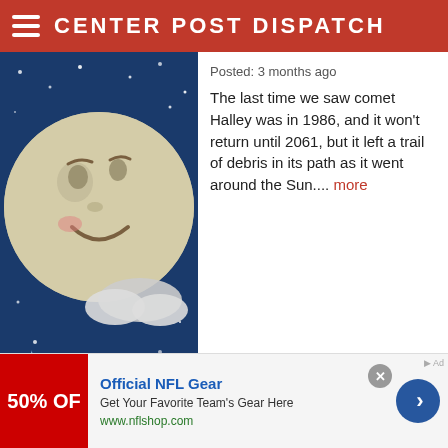CENTER POST DISPATCH
Posted: 3 months ago
The last time we saw comet Halley was in 1986, and it won't return until 2061, but it left a trail of debris in its path as it went around the Sun.... more
[Figure (illustration): Cartoon smiling moon face with stars on a dark blue night sky background]
Yankee In the South
Posted: 3 months ago
No matter where you are from, it seems that we are still somewhat identified by the events that occurred during the Civil War. The
[Figure (photo): Man wearing a wide-brimmed hat outdoors, smiling, holding a small dog, wearing a blue jacket]
[Figure (other): Advertisement: Official NFL Gear - 50% OFF - Get Your Favorite Team's Gear Here - www.nflshop.com]